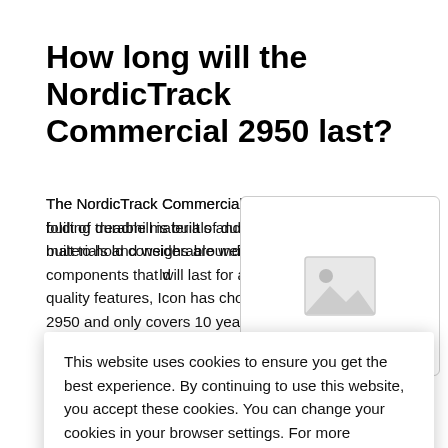How long will the NordicTrack Commercial 2950 last?
The NordicTrack Commercial 2950 folding treadmill is built of durable materials and weighs around 330 [lbs. It is built to hold considerable weight] and [has quality components] that will [last for a long time]. [Despite its quality] features, Icon has chosen [not to stand behind the] 2950 and only covers 10 [year on the frame, 2 years o]n parts, and 1 year on labor. [Based on our multiple] years of reviewing this model [we would say it should sur]vive moderate to heavy users [for many, man]y years to come. Keep in [mind that proper mainte]nance will add longevity to any electro-mechanical machine.
[Figure (photo): Placeholder image box with a landscape/photo icon in gray]
This website uses cookies to ensure you get the best experience. By continuing to use this website, you accept these cookies. You can change your cookies in your browser settings. For more information, see our cookie policy.